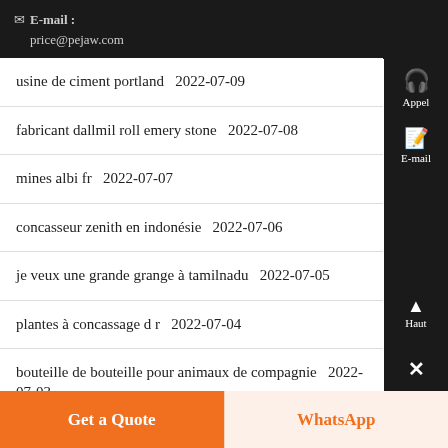E-mail : price@pejaw.com
usine de ciment portland  2022-07-09
fabricant dallmil roll emery stone  2022-07-08
mines albi fr  2022-07-07
concasseur zenith en indonésie  2022-07-06
je veux une grande grange à tamilnadu  2022-07-05
plantes à concassage d r  2022-07-04
bouteille de bouteille pour animaux de compagnie  2022-07-03
machine de marbre coréen  2022-07-02
mouleurs à rouleaux en allemagne  2022-07-01